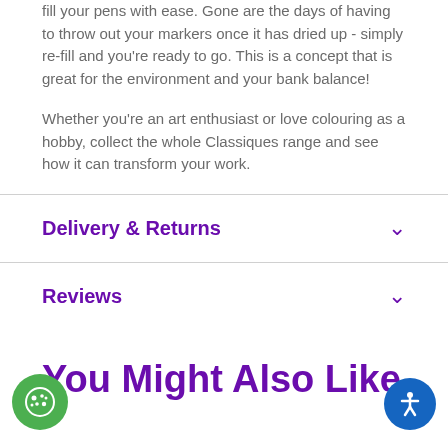fill your pens with ease. Gone are the days of having to throw out your markers once it has dried up - simply re-fill and you're ready to go. This is a concept that is great for the environment and your bank balance!

Whether you're an art enthusiast or love colouring as a hobby, collect the whole Classiques range and see how it can transform your work.
Delivery & Returns
Reviews
You Might Also Like